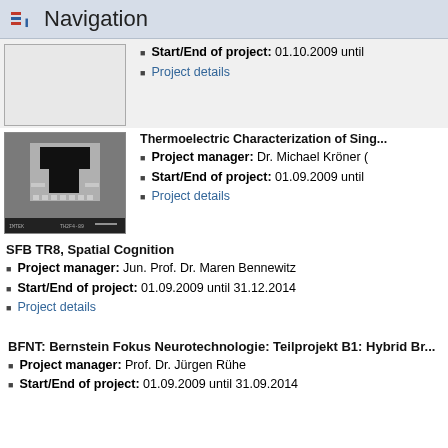Navigation
Start/End of project: 01.10.2009 until ...
Project details
[Figure (photo): Scanning electron microscope image of a thermoelectric device/MEMS structure with metal contacts]
Thermoelectric Characterization of Sing...
Project manager: Dr. Michael Kröner (...)
Start/End of project: 01.09.2009 until ...
Project details
SFB TR8, Spatial Cognition
Project manager: Jun. Prof. Dr. Maren Bennewitz
Start/End of project: 01.09.2009 until 31.12.2014
Project details
BFNT: Bernstein Fokus Neurotechnologie: Teilprojekt B1: Hybrid Br...
Project manager: Prof. Dr. Jürgen Rühe
Start/End of project: 01.09.2009 until 31.09.2014